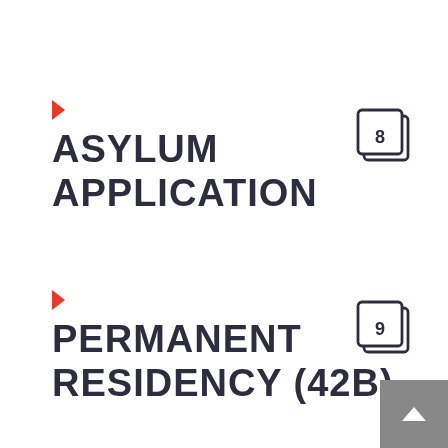ASYLUM APPLICATION
PERMANENT RESIDENCY (42B)